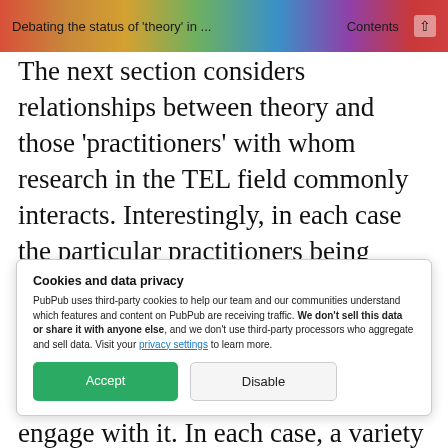Debating the status of 'theory' in ...   Contents
The next section considers relationships between theory and those 'practitioners' with whom research in the TEL field commonly interacts. Interestingly, in each case the particular practitioners being considered are teachers—whether in the compulsory education sector or in university settings. The papers highlight
Cookies and data privacy

PubPub uses third-party cookies to help our team and our communities understand which features and content on PubPub are receiving traffic. We don't sell this data or share it with anyone else, and we don't use third-party processors who aggregate and sell data. Visit your privacy settings to learn more.
engage with it. In each case, a variety of